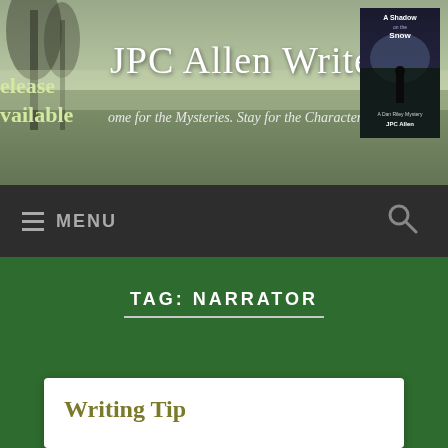JPC Allen Writes — Come for the Mysteries. Stay for the Characters.
[Figure (screenshot): Website header banner with foggy landscape background, site title 'JPC Allen Writes' in cursive script, tagline 'Come for the Mysteries. Stay for the Characters.', partial text 'release available' on left, and book cover 'A Shadow on the Snow' on right]
MENU
TAG: NARRATOR
Writing Tip